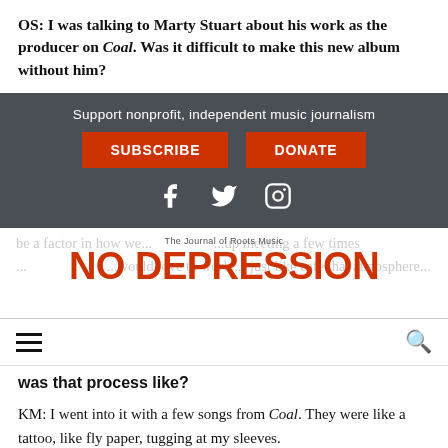OS: I was talking to Marty Stuart about his work as the producer on Coal. Was it difficult to make this new album without him?
[Figure (infographic): Dark gray banner with 'Support nonprofit, independent music journalism' text, SUBSCRIBE and DONATE red buttons, and Facebook, Twitter, Instagram social icons in white]
[Figure (logo): No Depression logo - 'The Journal of Roots Music' above large red 'NO DEPRESSION' text, overlaid on faded background article text]
[Figure (infographic): Navigation bar with hamburger menu icon on left and search icon on right]
was that process like?
KM: I went into it with a few songs from Coal. They were like a tattoo, like fly paper, tugging at my sleeves.
OS: Which songs were those?
KM: "I want to be...